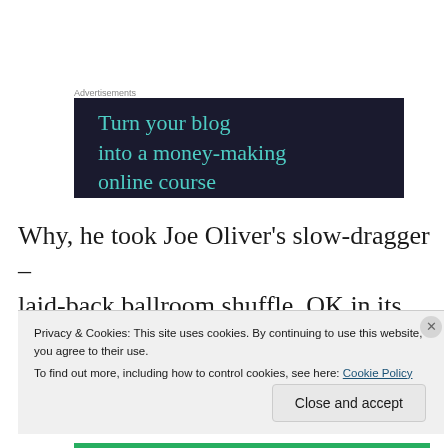Advertisements
[Figure (illustration): Dark navy advertisement banner with teal text reading 'Turn your blog into a money-making online course']
Why, he took Joe Oliver’s slow-dragger – laid-back ballroom shuffle, OK in its way,
Privacy & Cookies: This site uses cookies. By continuing to use this website, you agree to their use.
To find out more, including how to control cookies, see here: Cookie Policy
Close and accept